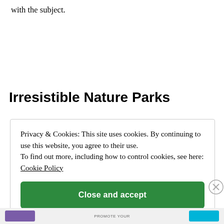with the subject.
Irresistible Nature Parks
Privacy & Cookies: This site uses cookies. By continuing to use this website, you agree to their use.
To find out more, including how to control cookies, see here: Cookie Policy

Close and accept